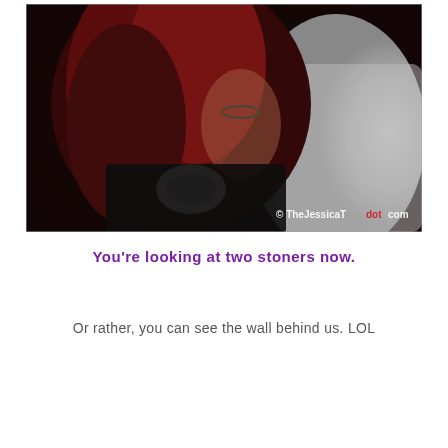[Figure (photo): Close-up photo of two people; a woman with red/dark hair wearing a black top and necklace on the left, and a person in a white shirt visible on the right. The background is dark. A watermark reads '© TheJessicaTdotcom' in the bottom right corner.]
You're looking at two stoners now.
Or rather, you can see the wall behind us. LOL